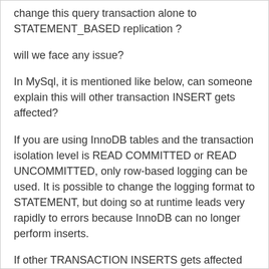change this query transaction alone to STATEMENT_BASED replication ?
will we face any issue?
In MySql, it is mentioned like below, can someone explain this will other transaction INSERT gets affected?
If you are using InnoDB tables and the transaction isolation level is READ COMMITTED or READ UNCOMMITTED, only row-based logging can be used. It is possible to change the logging format to STATEMENT, but doing so at runtime leads very rapidly to errors because InnoDB can no longer perform inserts.
If other TRANSACTION INSERTS gets affected can we change ISOLATION LEVEL to REPEATABLE_READ for this DELETE QUERY TRANSACTION alone ? Is it recommended do like this?